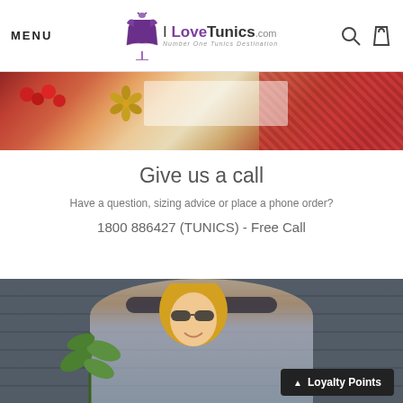MENU | I LoveTunics.com — Number One Tunics Destination
[Figure (photo): Banner image showing crafts/jewelry items on a table including red beads and floral decorations]
Give us a call
Have a question, sizing advice or place a phone order?
1800 886427 (TUNICS) - Free Call
[Figure (photo): Smiling blonde woman wearing sunglasses and a patterned top, seated outdoors in front of a grey wall with a plant nearby]